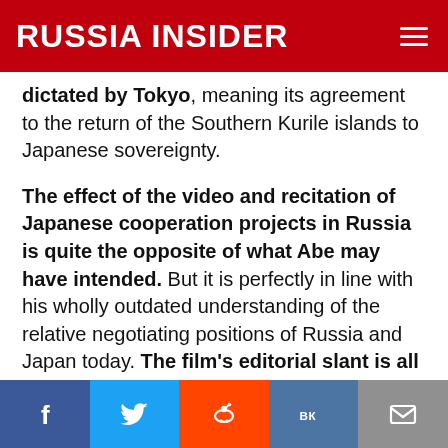RUSSIA INSIDER
dictated by Tokyo, meaning its agreement to the return of the Southern Kurile islands to Japanese sovereignty.
The effect of the video and recitation of Japanese cooperation projects in Russia is quite the opposite of what Abe may have intended. But it is perfectly in line with his wholly outdated understanding of the relative negotiating positions of Russia and Japan today. The film's editorial slant is all one-way: a wealthy and technologically superior Japan is lending a hand to a grateful Russia. This